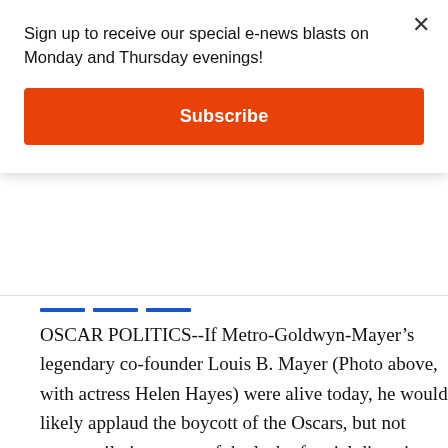Sign up to receive our special e-news blasts on Monday and Thursday evenings!
Subscribe
OSCAR POLITICS--If Metro-Goldwyn-Mayer’s legendary co-founder Louis B. Mayer (Photo above, with actress Helen Hayes) were alive today, he would likely applaud the boycott of the Oscars, but not necessarily in protest of the lack of racial diversity at Hollywood’s preeminent awards ceremony. It would be to rail against the presence of all the card-carrying members of the Teamsters, the